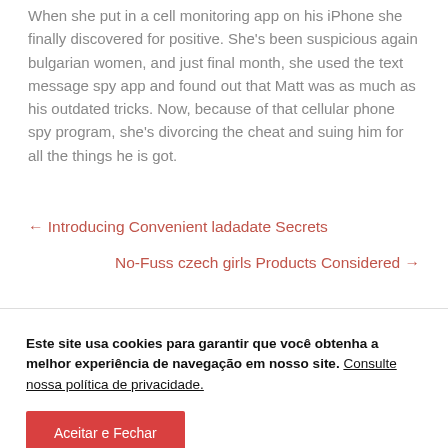When she put in a cell monitoring app on his iPhone she finally discovered for positive. She's been suspicious again bulgarian women, and just final month, she used the text message spy app and found out that Matt was as much as his outdated tricks. Now, because of that cellular phone spy program, she's divorcing the cheat and suing him for all the things he is got.
← Introducing Convenient ladadate Secrets
No-Fuss czech girls Products Considered →
Este site usa cookies para garantir que você obtenha a melhor experiência de navegação em nosso site. Consulte nossa política de privacidade.
Aceitar e Fechar